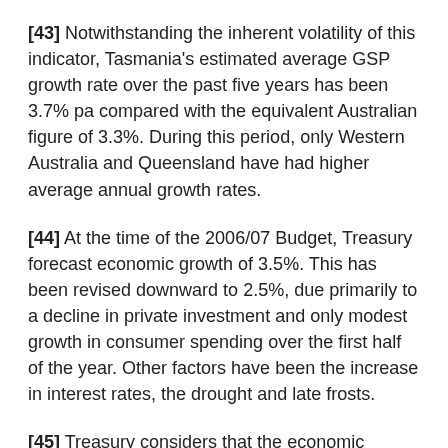[43] Notwithstanding the inherent volatility of this indicator, Tasmania's estimated average GSP growth rate over the past five years has been 3.7% pa compared with the equivalent Australian figure of 3.3%. During this period, only Western Australia and Queensland have had higher average annual growth rates.
[44] At the time of the 2006/07 Budget, Treasury forecast economic growth of 3.5%. This has been revised downward to 2.5%, due primarily to a decline in private investment and only modest growth in consumer spending over the first half of the year. Other factors have been the increase in interest rates, the drought and late frosts.
[45] Treasury considers that the economic climate continues to be favourable and forecasts economic growth of 3.5% in 2007/08. This forecast assumes the commencement of the pulp mill project. In the